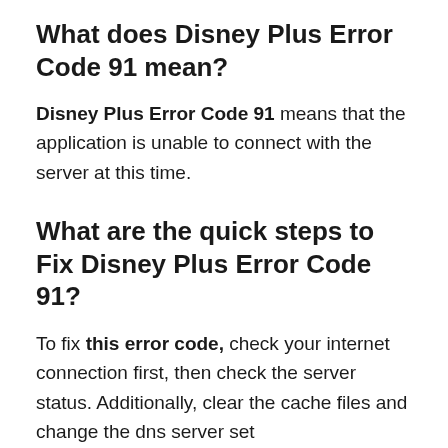What does Disney Plus Error Code 91 mean?
Disney Plus Error Code 91 means that the application is unable to connect with the server at this time.
What are the quick steps to Fix Disney Plus Error Code 91?
To fix this error code, check your internet connection first, then check the server status. Additionally, clear the cache files and change the dns server settings.